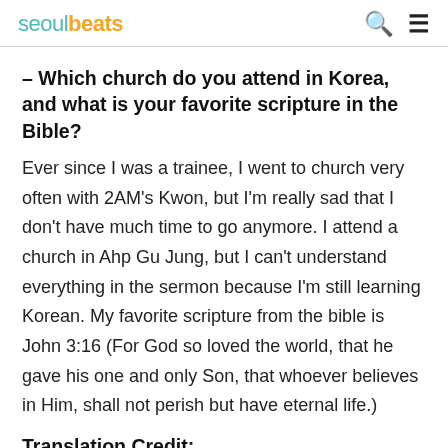seoulbeats
– Which church do you attend in Korea, and what is your favorite scripture in the Bible?
Ever since I was a trainee, I went to church very often with 2AM's Kwon, but I'm really sad that I don't have much time to go anymore. I attend a church in Ahp Gu Jung, but I can't understand everything in the sermon because I'm still learning Korean. My favorite scripture from the bible is John 3:16 (For God so loved the world, that he gave his one and only Son, that whoever believes in Him, shall not perish but have eternal life.)
Translation Credit: